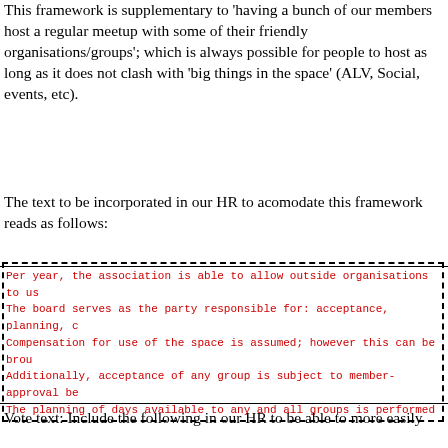This framework is supplementary to 'having a bunch of our members host a regular meetup with some of their friendly organisations/groups'; which is always possible for people to host as long as it does not clash with 'big things in the space' (ALV, Social, events, etc).
The text to be incorporated in our HR to acomodate this framework reads as follows:
Per year, the association is able to allow outside organisations to us
The board serves as the party responsible for: acceptance, planning, c
Compensation for use of the space is assumed; however this can be brou
Additionally, acceptance of any group is subject to member-approval be
The planning of days available to any and all groups is performed by b
In case of scheduling-clashes that cannot be resolved otherwise, any m
Vote text: Include the following in our HR to be able to more easily